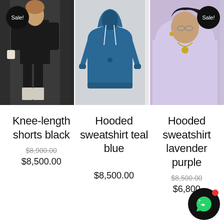[Figure (photo): Three product photos in a row: (1) person wearing knee-length black shorts with Sale! badge, (2) teal blue hooded sweatshirt flat lay, (3) person wearing lavender purple hooded sweatshirt with Sale! badge]
Knee-length shorts black
Hooded sweatshirt teal blue
Hooded sweatshirt lavender purple
$8,900.00 (strikethrough) $8,500.00
$8,500.00
$8,500.00 (strikethrough) $6,800